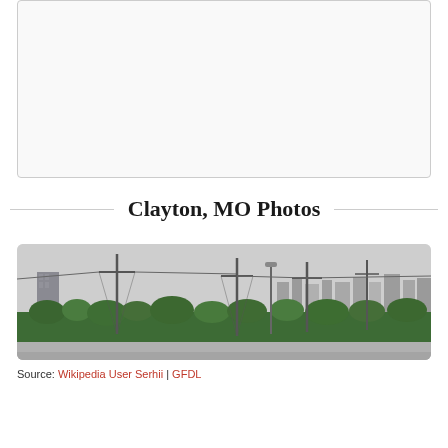[Figure (other): Empty placeholder box, white background with light gray border]
Clayton, MO Photos
[Figure (photo): Panoramic cityscape photo of Clayton, MO showing city skyline with buildings in background, green trees in middle ground, utility poles with power lines in foreground, overcast sky]
Source: Wikipedia User Serhii | GFDL